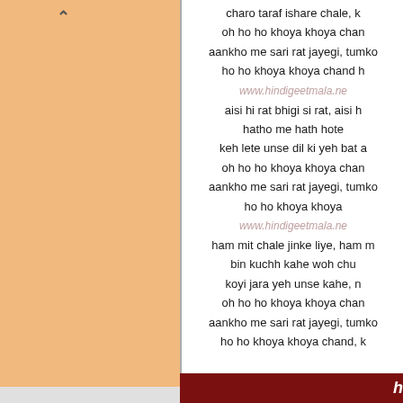[Figure (other): Left navigation panel with peach/orange background and tab with up-arrow]
charo taraf ishare chale, k
oh ho ho khoya khoya chan
aankho me sari rat jayegi, tumko
ho ho khoya khoya chand h
www.hindigeetmala.ne
aisi hi rat bhigi si rat, aisi h
hatho me hath hote
keh lete unse dil ki yeh bat a
oh ho ho khoya khoya chan
aankho me sari rat jayegi, tumko
ho ho khoya khoya
www.hindigeetmala.ne
ham mit chale jinke liye, ham m
bin kuchh kahe woh chu
koyi jara yeh unse kahe, n
oh ho ho khoya khoya chan
aankho me sari rat jayegi, tumko
ho ho khoya khoya chand, k
h